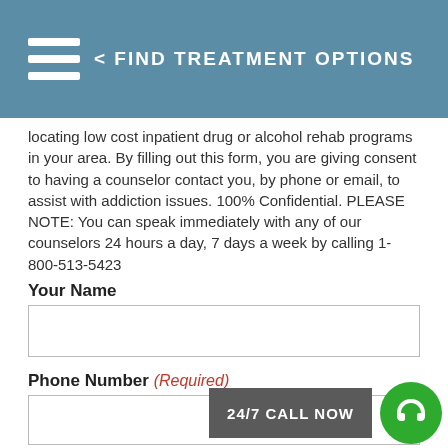< FIND TREATMENT OPTIONS
locating low cost inpatient drug or alcohol rehab programs in your area. By filling out this form, you are giving consent to having a counselor contact you, by phone or email, to assist with addiction issues. 100% Confidential. PLEASE NOTE: You can speak immediately with any of our counselors 24 hours a day, 7 days a week by calling 1-800-513-5423
Your Name
Phone Number (Required)
Email Address (Required)
24/7 CALL NOW